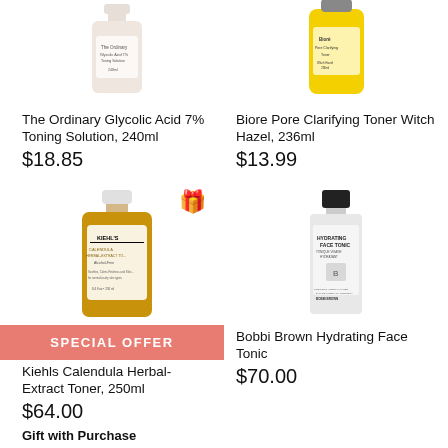[Figure (photo): The Ordinary Glycolic Acid 7% Toning Solution bottle, 240ml]
The Ordinary Glycolic Acid 7% Toning Solution, 240ml
$18.85
[Figure (photo): Biore Pore Clarifying Toner Witch Hazel bottle, 236ml]
Biore Pore Clarifying Toner Witch Hazel, 236ml
$13.99
[Figure (photo): Kiehls Calendula Herbal-Extract Toner bottle, 250ml with SPECIAL OFFER banner and gift icon]
Kiehls Calendula Herbal-Extract Toner, 250ml
$64.00
Gift with Purchase
[Figure (photo): Bobbi Brown Hydrating Face Tonic bottle]
Bobbi Brown Hydrating Face Tonic
$70.00